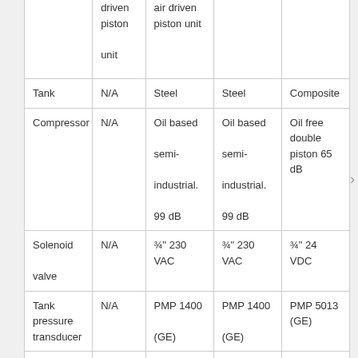| (partial) driven piston unit | (partial) air driven piston unit |  |  |
| Tank | N/A | Steel | Steel | Composite |
| Compressor | N/A | Oil based semi-industrial. 99 dB | Oil based semi-industrial. 99 dB | Oil free double piston 65 dB |
| Solenoid valve | N/A | ¾" 230 VAC | ¾" 230 VAC | ¾" 24 VDC |
| Tank pressure transducer | N/A | PMP 1400 (GE) | PMP 1400 (GE) | PMP 5013 (GE) |
| Building | N/A | 200 Hz | 200 Hz | 20 Hz |